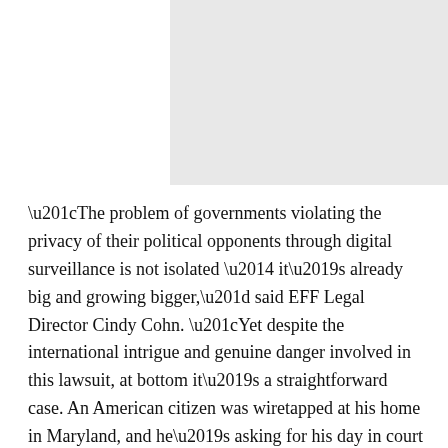[Figure (photo): Photograph placeholder, light gray rectangle in upper right area of page]
“The problem of governments violating the privacy of their political opponents through digital surveillance is not isolated — it’s already big and growing bigger,” said EFF Legal Director Cindy Cohn. “Yet despite the international intrigue and genuine danger involved in this lawsuit, at bottom it’s a straightforward case. An American citizen was wiretapped at his home in Maryland, and he’s asking for his day in court under longstanding American laws.”
In the complaint filed in US District Court in Washington DC today, Mr Kidane asks for a jury trial as well as damages for violations of the US Wiretap Act and state privacy law. The Ethiopian Embassy in Washington received a courtesy copy of the lawsuit, and the District Court will formally serve the